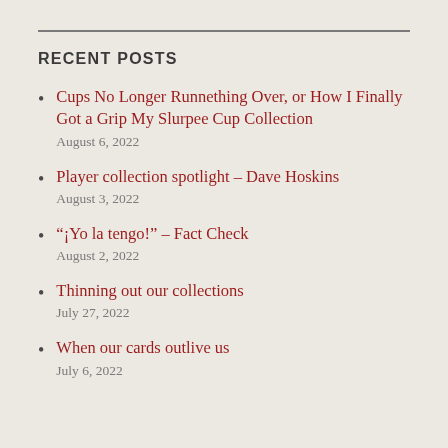RECENT POSTS
Cups No Longer Runnething Over, or How I Finally Got a Grip My Slurpee Cup Collection
August 6, 2022
Player collection spotlight – Dave Hoskins
August 3, 2022
“¡Yo la tengo!” – Fact Check
August 2, 2022
Thinning out our collections
July 27, 2022
When our cards outlive us
July 6, 2022